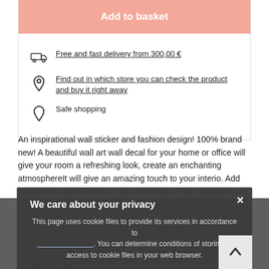Add to basket
Free and fast delivery from 300,00 €
Find out in which store you can check the product and buy it right away
Safe shopping
An inspirational wall sticker and fashion design! 100% brand new! A beautiful wall art wall decal for your home or office will give your room a refreshing look, create an enchanting atmosphereIt will give an amazing touch to your interio. Add elegance to your decor are just in minutes. Once applied your wall sticker will look like it has been painted o...
We care about your privacy
This page uses cookie files to provide its services in accordance to . You can determine conditions of storing or access to cookie files in your web browser.
Close
Decorate interior walls or windows of home, bathroom, office, dorm, or store